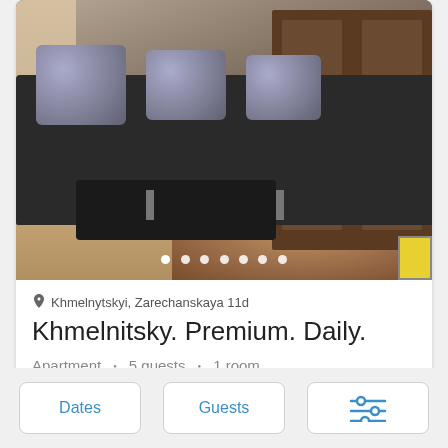[Figure (photo): Interior apartment photo showing a dark sofa with patterned pillows, a low coffee table, hardwood floor with rug, and wooden door in background. Carousel dots at bottom of image.]
Khmelnytskyi, Zarechanskaya 11d
Khmelnitsky. Premium. Daily.
Apartment • 5 guests • 1 room
633 uah per day
Dates
Guests